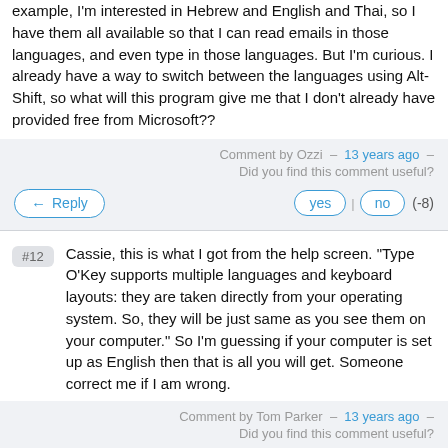example, I'm interested in Hebrew and English and Thai, so I have them all available so that I can read emails in those languages, and even type in those languages. But I'm curious. I already have a way to switch between the languages using Alt-Shift, so what will this program give me that I don't already have provided free from Microsoft??
Comment by Ozzi — 13 years ago — Did you find this comment useful?
yes | no (-8)
#12 Cassie, this is what I got from the help screen. "Type O'Key supports multiple languages and keyboard layouts: they are taken directly from your operating system. So, they will be just same as you see them on your computer." So I'm guessing if your computer is set up as English then that is all you will get. Someone correct me if I am wrong.
Comment by Tom Parker — 13 years ago — Did you find this comment useful?